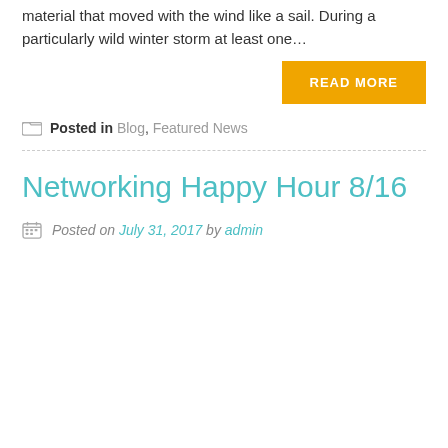material that moved with the wind like a sail. During a particularly wild winter storm at least one…
READ MORE
Posted in Blog, Featured News
Networking Happy Hour 8/16
Posted on July 31, 2017 by admin